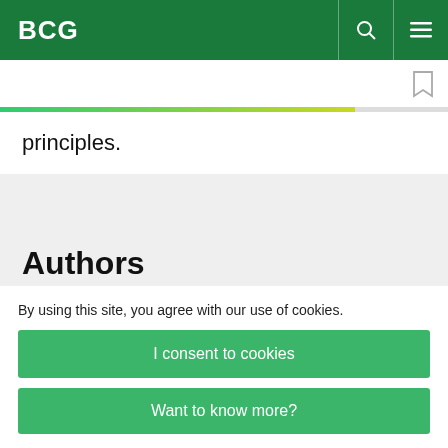BCG
principles.
Authors
By using this site, you agree with our use of cookies.
I consent to cookies
Want to know more?
Read our Cookie Policy